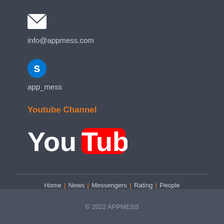[Figure (illustration): White envelope/mail icon on dark background]
info@appmess.com
[Figure (logo): Skype 'S' logo circle icon on dark background]
app_mess
Youtube Channel
[Figure (logo): YouTube logo - 'You' in white text and 'Tube' in white text on red-rounded rectangle background]
Home | News | Messengers | Rating | People | Updates | Reviews | Videos | About | Contact Us
© 2022 APPMESS